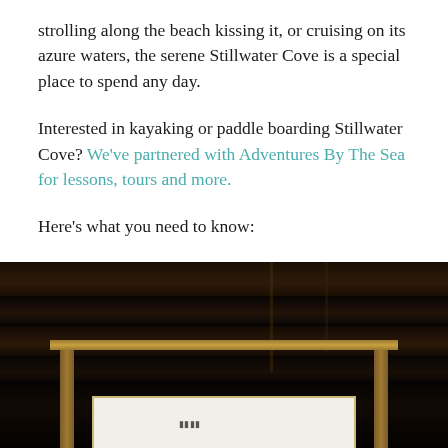strolling along the beach kissing it, or cruising on its azure waters, the serene Stillwater Cove is a special place to spend any day.
Interested in kayaking or paddle boarding Stillwater Cove? We've partnered with Adventures By The Sea for lessons, tours and more.
Here's what you need to know:
[Figure (photo): Dark photograph of a wooden dock or pier structure at night or in very low light, with a sign visible at the bottom of the image. The scene appears to show heavy wooden planks and vertical posts.]